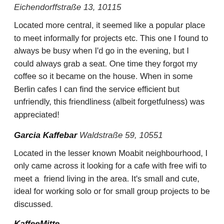Eichendorffstraße 13, 10115
Located more central, it seemed like a popular place to meet informally for projects etc. This one I found to always be busy when I'd go in the evening, but I could always grab a seat. One time they forgot my coffee so it became on the house. When in some Berlin cafes I can find the service efficient but unfriendly, this friendliness (albeit forgetfulness) was appreciated!
Garcia Kaffebar
Waldstraße 59, 10551
Located in the lesser known Moabit neighbourhood, I only came across it looking for a cafe with free wifi to meet a  friend living in the area. It's small and cute, ideal for working solo or for small group projects to be discussed.
KaffeeMitte